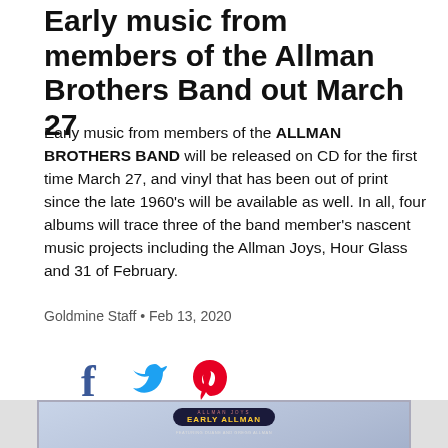Early music from members of the Allman Brothers Band out March 27
Early music from members of the ALLMAN BROTHERS BAND will be released on CD for the first time March 27, and vinyl that has been out of print since the late 1960's will be available as well. In all, four albums will trace three of the band member's nascent music projects including the Allman Joys, Hour Glass and 31 of February.
Goldmine Staff • Feb 13, 2020
[Figure (other): Social media share icons: Facebook, Twitter, Pinterest]
[Figure (photo): Album cover art for 'Early Allman' by Allman Joys, featuring the text 'ALLMAN JOYS - EARLY ALLMAN - FEATURING DUANE AND GREGG ALLMAN' with stylized vinyl record and bird imagery on a blue/purple background]